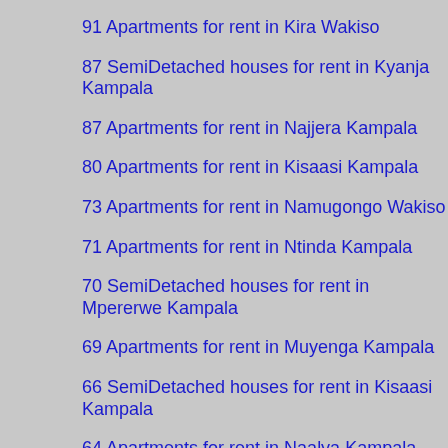91 Apartments for rent in Kira Wakiso
87 SemiDetached houses for rent in Kyanja Kampala
87 Apartments for rent in Najjera Kampala
80 Apartments for rent in Kisaasi Kampala
73 Apartments for rent in Namugongo Wakiso
71 Apartments for rent in Ntinda Kampala
70 SemiDetached houses for rent in Mpererwe Kampala
69 Apartments for rent in Muyenga Kampala
66 SemiDetached houses for rent in Kisaasi Kampala
64 Apartments for rent in Naalya Kampala